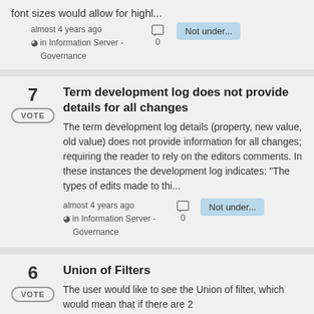font sizes would allow for highl...
almost 4 years ago
in Information Server - Governance
0
Not under...
7
Term development log does not provide details for all changes
The term development log details (property, new value, old value) does not provide information for all changes; requiring the reader to rely on the editors comments. In these instances the development log indicates: "The types of edits made to thi...
almost 4 years ago
in Information Server - Governance
0
Not under...
6
Union of Filters
The user would like to see the Union of filter, which would mean that if there are 2